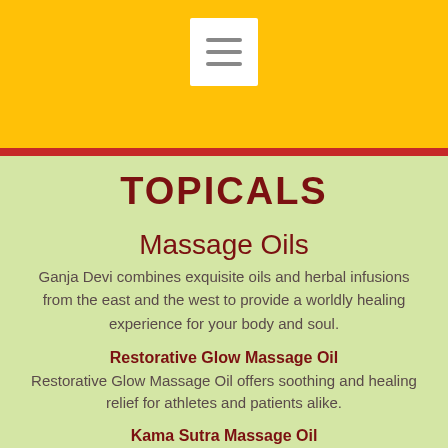[Figure (screenshot): Yellow header bar with red bottom border and white hamburger menu button icon centered]
TOPICALS
Massage Oils
Ganja Devi combines exquisite oils and herbal infusions from the east and the west to provide a worldly healing experience for your body and soul.
Restorative Glow Massage Oil
Restorative Glow Massage Oil offers soothing and healing relief for athletes and patients alike.
Kama Sutra Massage Oil